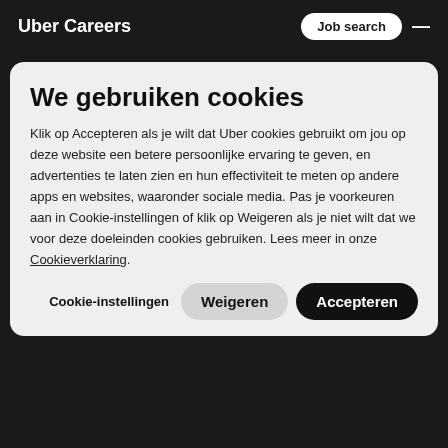Uber Careers
Sales Academy
Sales Academy is an enhanced onboarding and training program for people who are looking to make an intentional career shift into sales. Cohort members participate in a 6-week classroom and hands-on training program, and then join a territory team in our Uber Eats and Delivery business.

Whether you're just starting out in your career or returning to the workforce, Sales Academy will provide all of the training, mentorship and support you need to become a successful Account Representative.
We gebruiken cookies
Klik op Accepteren als je wilt dat Uber cookies gebruikt om jou op deze website een betere persoonlijke ervaring te geven, en advertenties te laten zien en hun effectiviteit te meten op andere apps en websites, waaronder sociale media. Pas je voorkeuren aan in Cookie-instellingen of klik op Weigeren als je niet wilt dat we voor deze doeleinden cookies gebruiken. Lees meer in onze Cookieverklaring.
Cookie-instellingen
Weigeren
Accepteren